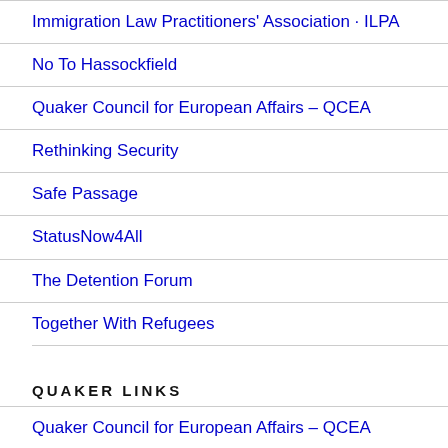Immigration Law Practitioners' Association · ILPA
No To Hassockfield
Quaker Council for European Affairs – QCEA
Rethinking Security
Safe Passage
StatusNow4All
The Detention Forum
Together With Refugees
QUAKER LINKS
Quaker Council for European Affairs – QCEA